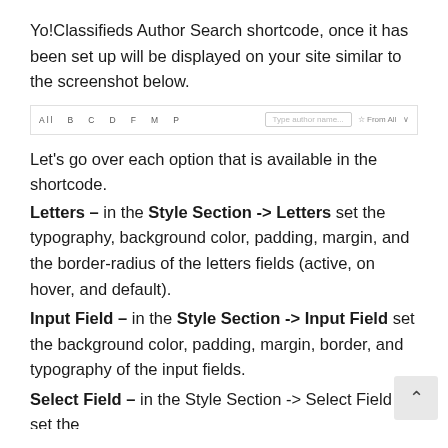Yo!Classifieds Author Search shortcode, once it has been set up will be displayed on your site similar to the screenshot below.
[Figure (screenshot): A navigation bar showing letter filters (All B C D F M P) and a text input field with placeholder 'Type author name...' and a filter dropdown]
Let's go over each option that is available in the shortcode.
Letters – in the Style Section -> Letters set the typography, background color, padding, margin, and the border-radius of the letters fields (active, on hover, and default).
Input Field – in the Style Section -> Input Field set the background color, padding, margin, border, and typography of the input fields.
Select Field – in the Style Section -> Select Field set the